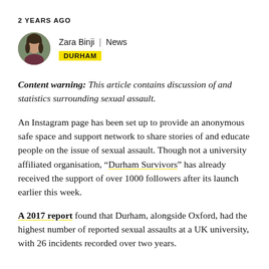2 YEARS AGO
Zara Binji | News  DURHAM
Content warning: This article contains discussion of and statistics surrounding sexual assault.
An Instagram page has been set up to provide an anonymous safe space and support network to share stories of and educate people on the issue of sexual assault. Though not a university affiliated organisation, “Durham Survivors” has already received the support of over 1000 followers after its launch earlier this week.
A 2017 report found that Durham, alongside Oxford, had the highest number of reported sexual assaults at a UK university, with 26 incidents recorded over two years.